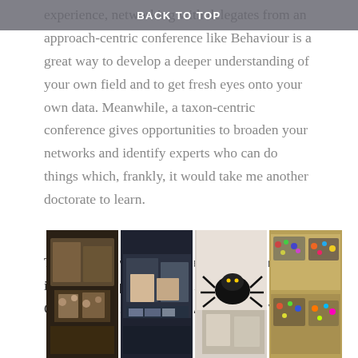BACK TO TOP
experience, networking with delegates from an approach-centric conference like Behaviour is a great way to develop a deeper understanding of your own field and to get fresh eyes onto your own data. Meanwhile, a taxon-centric conference gives opportunities to broaden your networks and identify experts who can do things which, frankly, it would take me another doctorate to learn.
The other advantage of a taxon-centric meeting is all the paraphernalia and merchandise. All. Of. The. Arachnid. Stuff. All. Of. The. Time.
[Figure (photo): Four photos showing conference merchandise/paraphernalia tables including spider-themed items, books, displays, and food decorated with spider motifs.]